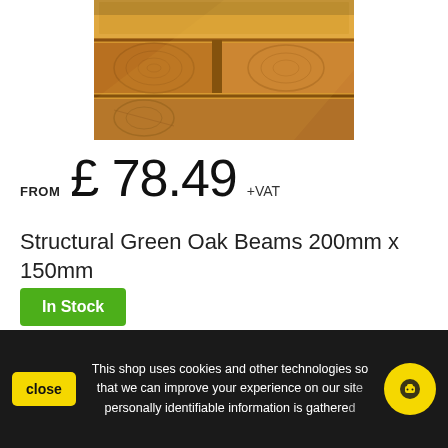[Figure (photo): Stack of structural green oak beams photographed from the end, showing cross-sections and grain patterns, warm golden-brown wood color]
FROM £ 78.49 +VAT
Structural Green Oak Beams 200mm x 150mm
In Stock
Add to Joblist
This shop uses cookies and other technologies so that we can improve your experience on our site. No personally identifiable information is gathered.